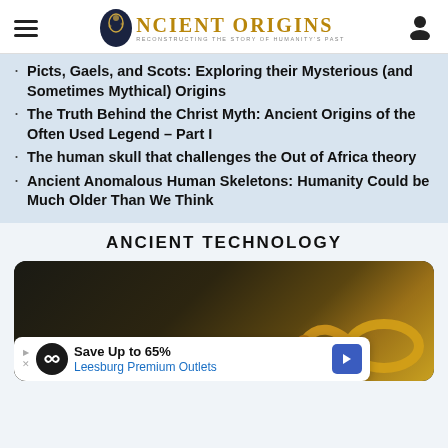Ancient Origins — Reconstructing the Story of Humanity's Past
Picts, Gaels, and Scots: Exploring their Mysterious (and Sometimes Mythical) Origins
The Truth Behind the Christ Myth: Ancient Origins of the Often Used Legend – Part I
The human skull that challenges the Out of Africa theory
Ancient Anomalous Human Skeletons: Humanity Could be Much Older Than We Think
ANCIENT TECHNOLOGY
[Figure (photo): Close-up photograph of a golden ancient artifact on dark sandy/gravelly background, showing a curved gold object resembling a torc or horn]
Save Up to 65% Leesburg Premium Outlets (advertisement)